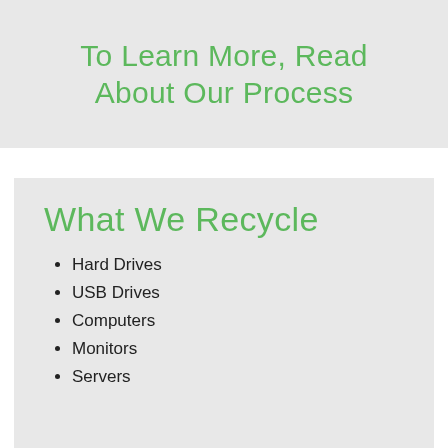To Learn More, Read About Our Process
What We Recycle
Hard Drives
USB Drives
Computers
Monitors
Servers